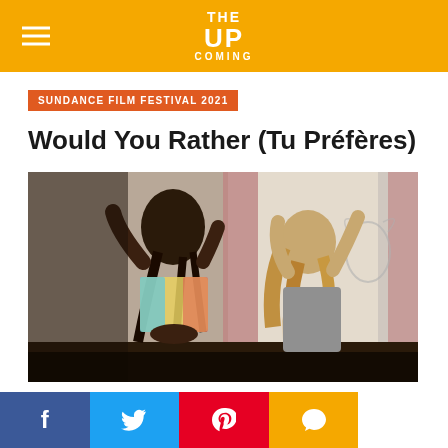THE UP COMING
SUNDANCE FILM FESTIVAL 2021
Would You Rather (Tu Préfères)
[Figure (photo): Two young women dancing in a room; one with long braids wearing a crop top, the other with wavy blonde hair wearing a grey top, with curtains and a white wall with drawings in the background.]
Social share bar: Facebook, Twitter, Pinterest, Comments, WhatsApp